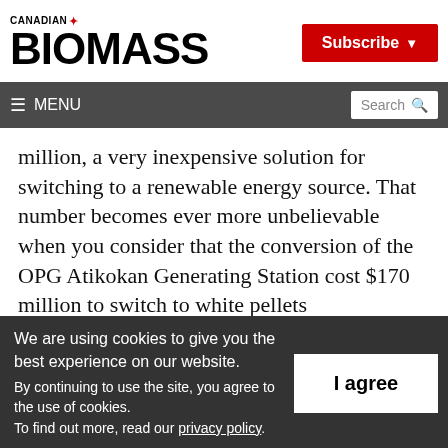CANADIAN BIOMASS
million, a very inexpensive solution for switching to a renewable energy source. That number becomes ever more unbelievable when you consider that the conversion of the OPG Atikokan Generating Station cost $170 million to switch to white pellets
We are using cookies to give you the best experience on our website. By continuing to use the site, you agree to the use of cookies. To find out more, read our privacy policy.